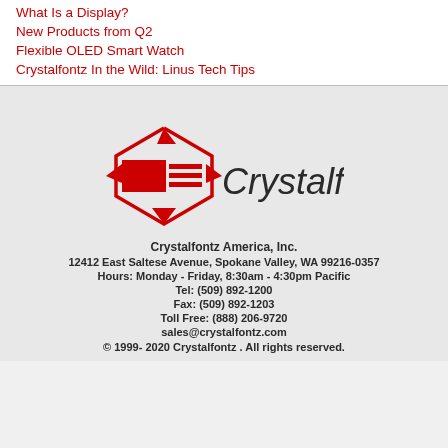What Is a Display?
New Products from Q2
Flexible OLED Smart Watch
Crystalfontz In the Wild: Linus Tech Tips
[Figure (logo): Crystalfontz logo with red hexagonal icon and italic text 'Crystalfontz']
Crystalfontz America, Inc.
12412 East Saltese Avenue, Spokane Valley, WA 99216-0357
Hours: Monday - Friday, 8:30am - 4:30pm Pacific
Tel: (509) 892-1200
Fax: (509) 892-1203
Toll Free: (888) 206-9720
sales@crystalfontz.com
© 1999- 2020 Crystalfontz . All rights reserved.